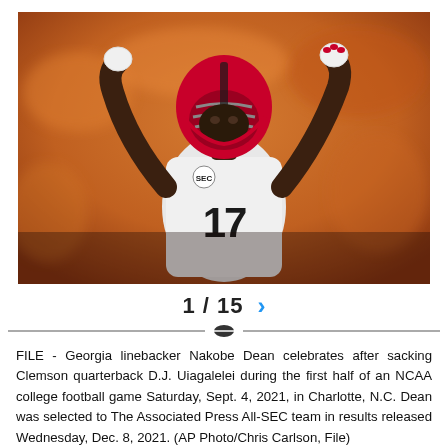[Figure (photo): Football player wearing Georgia Bulldogs white jersey number 17 with red helmet, celebrating with arms raised, blurred orange crowd background]
1 / 15 >
FILE - Georgia linebacker Nakobe Dean celebrates after sacking Clemson quarterback D.J. Uiagalelei during the first half of an NCAA college football game Saturday, Sept. 4, 2021, in Charlotte, N.C. Dean was selected to The Associated Press All-SEC team in results released Wednesday, Dec. 8, 2021. (AP Photo/Chris Carlson, File)